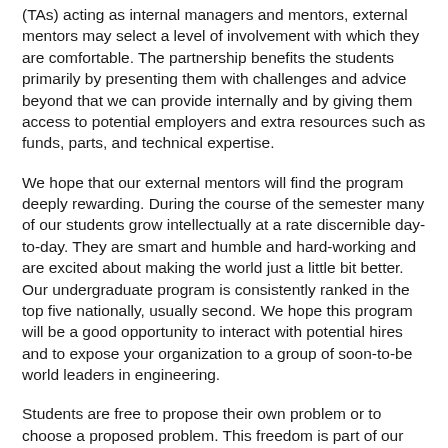(TAs) acting as internal managers and mentors, external mentors may select a level of involvement with which they are comfortable. The partnership benefits the students primarily by presenting them with challenges and advice beyond that we can provide internally and by giving them access to potential employers and extra resources such as funds, parts, and technical expertise.
We hope that our external mentors will find the program deeply rewarding. During the course of the semester many of our students grow intellectually at a rate discernible day-to-day. They are smart and humble and hard-working and are excited about making the world just a little bit better. Our undergraduate program is consistently ranked in the top five nationally, usually second. We hope this program will be a good opportunity to interact with potential hires and to expose your organization to a group of soon-to-be world leaders in engineering.
Students are free to propose their own problem or to choose a proposed problem. This freedom is part of our strategy to provide students a chance to work on a project optimally matched to their own strengths and interests. We foster an attitude of ownership of the project by the students and put the rewards and responsibilities of the project in their hands. This is their last and greatest opportunity to